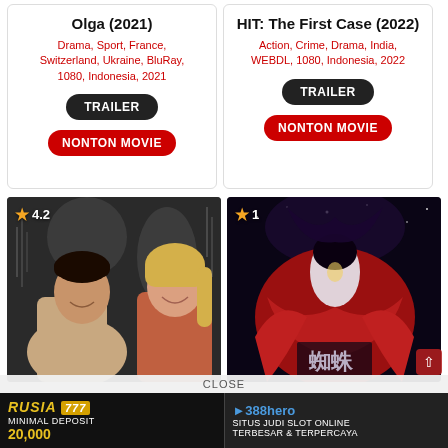Olga (2021)
Drama, Sport, France, Switzerland, Ukraine, BluRay, 1080, Indonesia, 2021
TRAILER
NONTON MOVIE
HIT: The First Case (2022)
Action, Crime, Drama, India, WEBDL, 1080, Indonesia, 2022
TRAILER
NONTON MOVIE
[Figure (photo): Movie poster showing a couple smiling at each other with rating 4.2 stars]
[Figure (illustration): Chinese animated movie poster with characters in red robes with Chinese characters, rating 1 star]
CLOSE
RUSIA 777 MINIMAL DEPOSIT 20,000
388hero SITUS JUDI SLOT ONLINE TERBESAR & TERPERCAYA